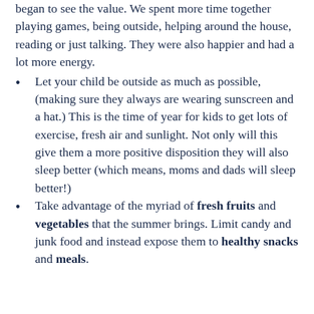began to see the value. We spent more time together playing games, being outside, helping around the house, reading or just talking. They were also happier and had a lot more energy.
Let your child be outside as much as possible, (making sure they always are wearing sunscreen and a hat.) This is the time of year for kids to get lots of exercise, fresh air and sunlight. Not only will this give them a more positive disposition they will also sleep better (which means, moms and dads will sleep better!)
Take advantage of the myriad of fresh fruits and vegetables that the summer brings. Limit candy and junk food and instead expose them to healthy snacks and meals.